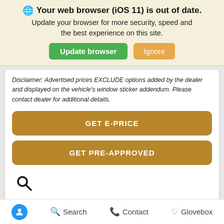Your web browser (iOS 11) is out of date.
Update your browser for more security, speed and the best experience on this site.
Update browser | Ignore
Disclaimer: Advertised prices EXCLUDE options added by the dealer and displayed on the vehicle's window sticker addendum. Please contact dealer for additional details.
GET E-PRICE
GET PRE-APPROVED
[Figure (screenshot): Search icon (magnifying glass) displayed in a white card section]
[Figure (screenshot): Partial Chevrolet advertisement banner with blue gradient background and partial Chevrolet logo text visible]
Accessibility icon | Search | Contact | Glovebox